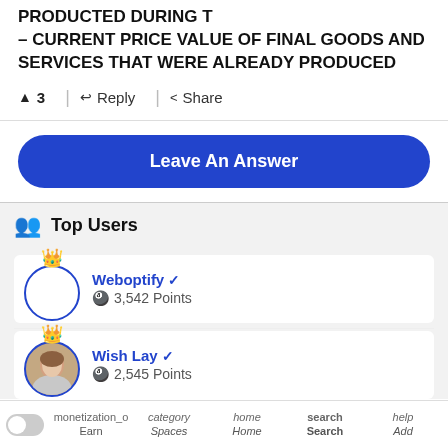PRODUCTED DURING T
– CURRENT PRICE VALUE OF FINAL GOODS AND SERVICES THAT WERE ALREADY PRODUCED
▲ 3  ↩ Reply  < Share
Leave An Answer
Top Users
Weboptify ✓
3,542 Points
Wish Lay ✓
2,545 Points
monetization_o Earn  category Spaces  home Home  search Search  help Add